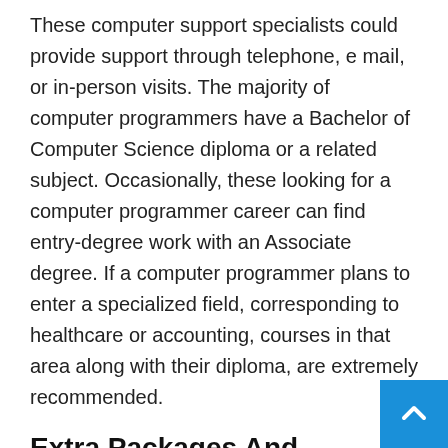These computer support specialists could provide support through telephone, e mail, or in-person visits. The majority of computer programmers have a Bachelor of Computer Science diploma or a related subject. Occasionally, these looking for a computer programmer career can find entry-degree work with an Associate degree. If a computer programmer plans to enter a specialized field, corresponding to healthcare or accounting, courses in that area along with their diploma, are extremely recommended.
Extra Packages And Providers
You are being directed to ZacksTrade, a division of LBMZ Securities and licensed broker-vendor. The web hyperlink between the two companies isn't a solicitation or offer to invest in a particular security or type of security.